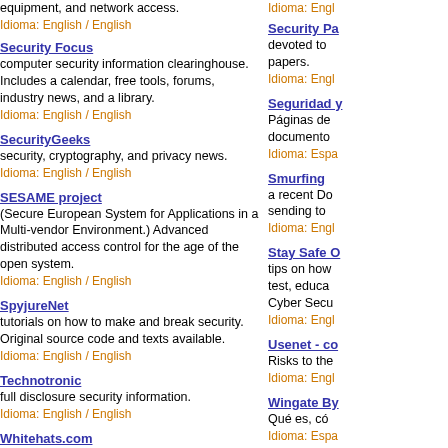equipment, and network access.
Idioma: English / English
Security Focus - computer security information clearinghouse. Includes a calendar, free tools, forums, industry news, and a library. Idioma: English / English
SecurityGeeks - security, cryptography, and privacy news. Idioma: English / English
SESAME project - (Secure European System for Applications in a Multi-vendor Environment.) Advanced distributed access control for the age of the open system. Idioma: English / English
SpyjureNet - tutorials on how to make and break security. Original source code and texts available. Idioma: English / English
Technotronic - full disclosure security information. Idioma: English / English
Whitehats.com - network security resource. Idioma: English / English
ZDNet Help & How-To: Bugs, Viruses, Security Alerts - features alerts, protection guides, how-tos, downloads, and other resources. Idioma: English / English
Security Pa... - devoted to... papers. Idioma: Engli...
Seguridad y... - Páginas de... documento... Idioma: Espa...
Smurfing - a recent Do... sending to... Idioma: Engli...
Stay Safe O... - tips on how... test, educa... Cyber Secu... Idioma: Engli...
Usenet - co... - Risks to the... Idioma: Engli...
Wingate By... - Qué es, có... Idioma: Espa...